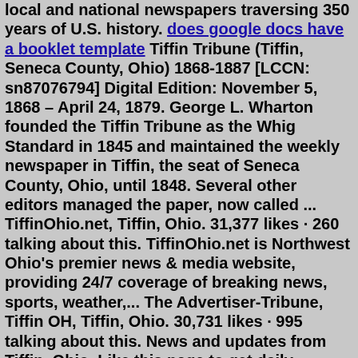local and national newspapers traversing 350 years of U.S. history. does google docs have a booklet template Tiffin Tribune (Tiffin, Seneca County, Ohio) 1868-1887 [LCCN: sn87076794] Digital Edition: November 5, 1868 – April 24, 1879. George L. Wharton founded the Tiffin Tribune as the Whig Standard in 1845 and maintained the weekly newspaper in Tiffin, the seat of Seneca County, Ohio, until 1848. Several other editors managed the paper, now called ... TiffinOhio.net, Tiffin, Ohio. 31,377 likes · 260 talking about this. TiffinOhio.net is Northwest Ohio's premier news & media website, providing 24/7 coverage of breaking news, sports, weather,... The Advertiser-Tribune, Tiffin OH, Tiffin, Ohio. 30,731 likes · 995 talking about this. News and updates from Tiffin, Ohio. Like this page to get daily... Discover Tiffin, Ohio historical newspaper archives from 1856-1879 in more than 3.15 billion old newspaper articles about 8.5 billion people! Shelby, OH (44875) Today. Sun and a few passing clouds. High around 80F. Winds light and variable.. ... For many years, semi drivers have faced issues with